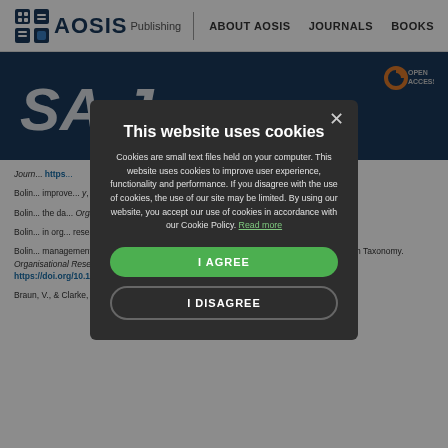AOSIS Publishing | ABOUT AOSIS | JOURNALS | BOOKS
[Figure (screenshot): AOSIS Publishing journal page header with SA Journal branding and Open Access badge]
Journals reference list items partially visible behind modal overlay
This website uses cookies
Cookies are small text files held on your computer. This website uses cookies to improve user experience, functionality and performance. If you disagree with the use of cookies, the use of our site may be limited. By using our website, you accept our use of cookies in accordance with our Cookie Policy. Read more
I AGREE
I DISAGREE